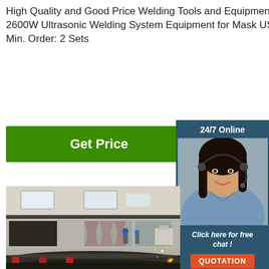High Quality and Good Price Welding Tools and Equipments Efficient 20K-2600W Ultrasonic Welding System Equipment for Mask US $ 263-364 Sets Min. Order: 2 Sets
[Figure (other): Green 'Get Price' button]
[Figure (other): Sidebar with '24/7 Online' label, photo of woman with headset, 'Click here for free chat!' text, and orange QUOTATION button on dark blue background]
[Figure (photo): Industrial welding facility interior showing large pipes being welded on a conveyor, workers in hard hats, bright welding sparks, industrial building with tall windows and curtains]